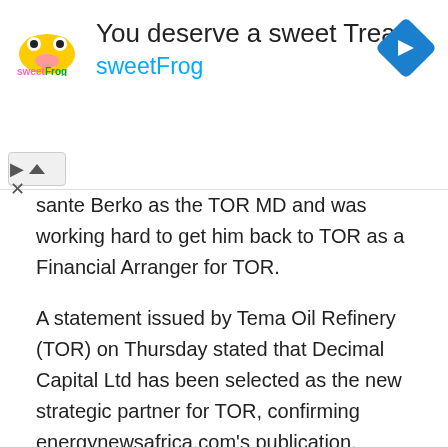[Figure (infographic): Advertisement banner for sweetFrog frozen yogurt. Shows sweetFrog logo on left, headline 'You deserve a sweet Treat' and brand name 'sweetFrog' in blue text, with a blue diamond navigation icon on the right.]
sante Berko as the TOR MD and was working hard to get him back to TOR as a Financial Arranger for TOR.
A statement issued by Tema Oil Refinery (TOR) on Thursday stated that Decimal Capital Ltd has been selected as the new strategic partner for TOR, confirming energynewsafrica.com’s publication.
Even though TOR’s statement did not give details of the partnership, energynewsafrica.com’s sources indicate that Decimal Capital Ltd is going to be part of the new Management.